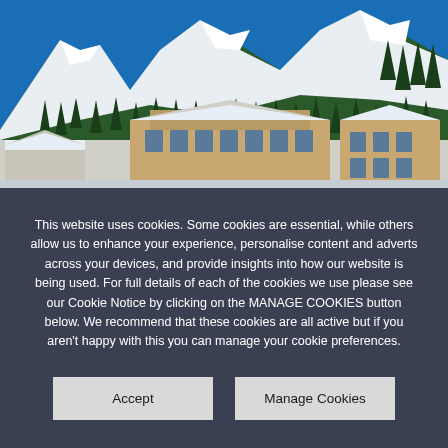[Figure (photo): Winter ski resort photo showing snow-covered mountain slopes with ski runs, evergreen trees, and lodge/hotel buildings with snow-covered roofs in the foreground, under a clear blue sky.]
This website uses cookies. Some cookies are essential, while others allow us to enhance your experience, personalise content and adverts across your devices, and provide insights into how our website is being used. For full details of each of the cookies we use please see our Cookie Notice by clicking on the MANAGE COOKIES button below. We recommend that these cookies are all active but if you aren't happy with this you can manage your cookie preferences.
Accept
Manage Cookies